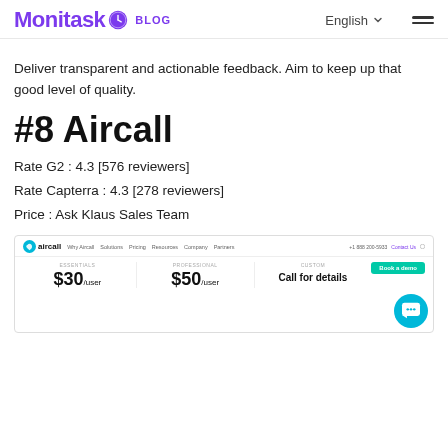Monitask BLOG | English | menu
Deliver transparent and actionable feedback. Aim to keep up that good level of quality.
#8 Aircall
Rate G2 : 4.3 [576 reviewers]
Rate Capterra : 4.3 [278 reviewers]
Price : Ask Klaus Sales Team
[Figure (screenshot): Screenshot of Aircall website showing pricing tiers: Essentials $30/user, Professional $50/user, Custom - Call for details. Navigation bar with Aircall logo and menu links visible.]